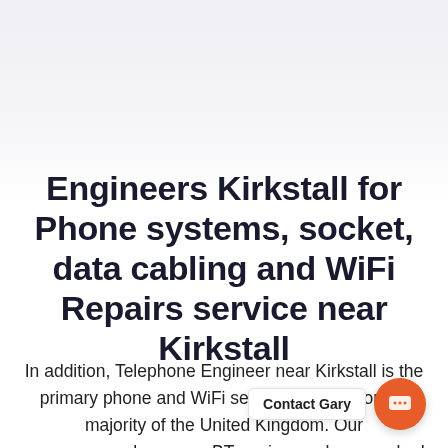Engineers Kirkstall for Phone systems, socket, data cabling and WiFi Repairs service near Kirkstall
In addition, Telephone Engineer near Kirkstall is the primary phone and WiFi service provider for the majority of the United Kingdom. Our e… who are ex-BT engineers, have worked in the telecom industry since 1998, giving us a combined total of 20 years of